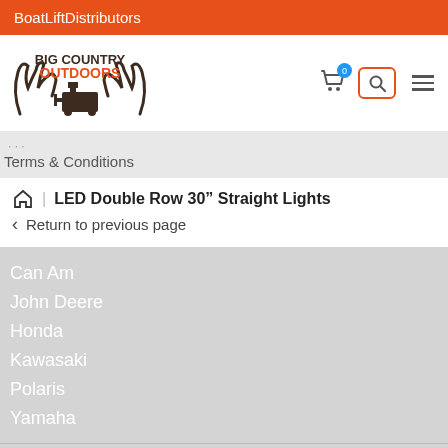BoatLiftDistributors
[Figure (logo): Big Country Outdoors logo with antlers and forklift illustration, text BIG COUNTRY OUTDOORS in brown and orange]
Terms & Conditions
LED Double Row 30" Straight Lights
Return to previous page
Can Am
John Deere
Honda
Kawasaki
Polaris
Yamaha
Get Our Email Update